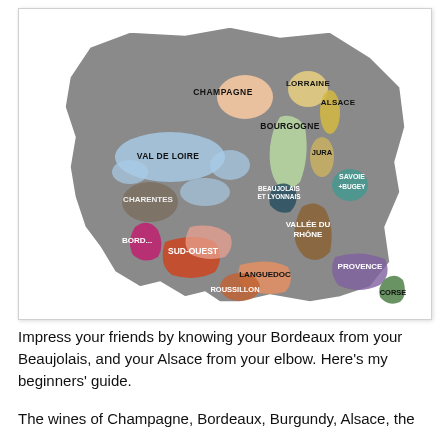[Figure (map): Map of French wine regions showing Champagne, Lorraine, Alsace, Val de Loire, Bourgogne, Jura, Savoie+Bugey, Beaujolais et Lyonnais, Charentes, Bordeaux, Sud-Ouest, Vallée du Rhône, Languedoc, Roussillon, Provence, and Corse — each region colored distinctly on an outline map of France.]
Impress your friends by knowing your Bordeaux from your Beaujolais, and your Alsace from your elbow. Here's my beginners' guide.
The wines of Champagne, Bordeaux, Burgundy, Alsace, the